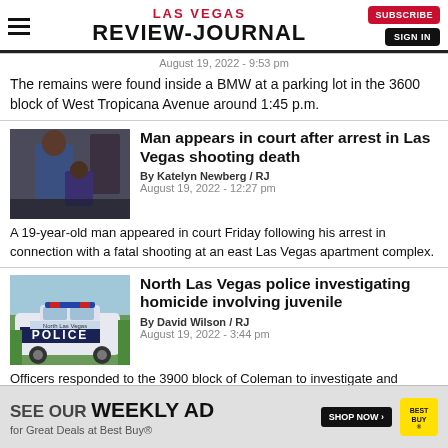LAS VEGAS REVIEW-JOURNAL
August 19, 2022 - 9:53 pm
The remains were found inside a BMW at a parking lot in the 3600 block of West Tropicana Avenue around 1:45 p.m.
[Figure (photo): Man in blue shirt in courtroom setting with woman behind him]
Man appears in court after arrest in Las Vegas shooting death
By Katelyn Newberg / RJ
August 19, 2022 - 12:27 pm
A 19-year-old man appeared in court Friday following his arrest in connection with a fatal shooting at an east Las Vegas apartment complex.
[Figure (photo): North Las Vegas Police cruiser in parking lot]
North Las Vegas police investigating homicide involving juvenile
By David Wilson / RJ
August 19, 2022 - 3:44 pm
Officers responded to the 3900 block of Coleman to investigate and
SEE OUR WEEKLY AD for Great Deals at Best Buy®